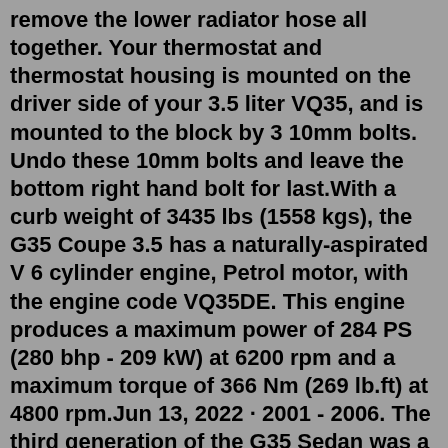remove the lower radiator hose all together. Your thermostat and thermostat housing is mounted on the driver side of your 3.5 liter VQ35, and is mounted to the block by 3 10mm bolts. Undo these 10mm bolts and leave the bottom right hand bolt for last.With a curb weight of 3435 lbs (1558 kgs), the G35 Coupe 3.5 has a naturally-aspirated V 6 cylinder engine, Petrol motor, with the engine code VQ35DE. This engine produces a maximum power of 284 PS (280 bhp - 209 kW) at 6200 rpm and a maximum torque of 366 Nm (269 lb.ft) at 4800 rpm.Jun 13, 2022 · 2001 - 2006. The third generation of the G35 Sedan was a big evolution over its predecessor, which looked more like a Nissan Primera than a premium vehicle. Nissan already had a very good RWD ... All Infiniti G35 variants feature 3.5 l (3498 cm3) V6 petrol engines. How much horsepower is Infiniti G35? Infiniti G35 delivers some considerable power, with the lowest output being 260 Hp (2002 Infiniti G35 (FM) 3.5 i V6 24V (260 Hp)) and the highest - 315 Hp (2006 Infiniti G35 Sport Sedan 3.5i V6 AWD (315 Hp)). 2008 Infiniti G35